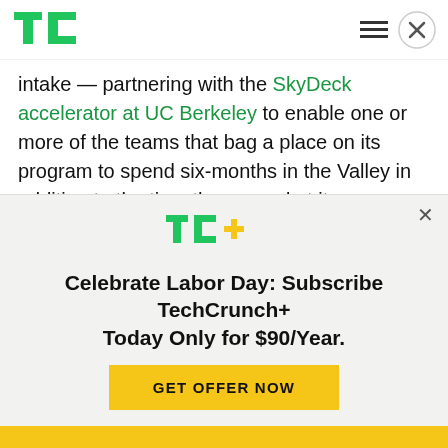TechCrunch [TC logo] [hamburger menu] [close button]
intake — partnering with the SkyDeck accelerator at UC Berkeley to enable one or more of the teams that bag a place on its program to spend six-months in the Valley in addition to the time they spend at its bootcamp.
StartupHighway is based in Vilnius, Lithuania, and generally targets the CEE region — although it's
[Figure (logo): TC+ logo (TechCrunch Plus) in green and yellow]
Celebrate Labor Day: Subscribe TechCrunch+ Today Only for $90/Year.
GET OFFER NOW